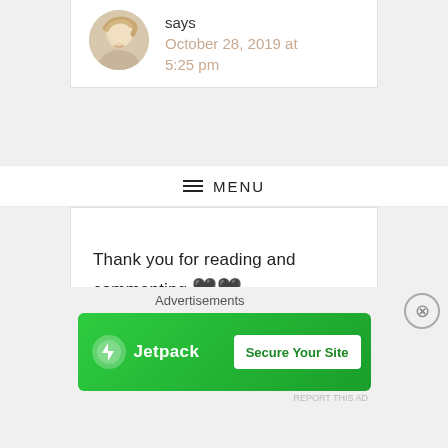[Figure (photo): Circular avatar photo of a blonde woman smiling]
says
October 28, 2019 at 5:25 pm
≡ MENU
Thank you for reading and commenting 🖤🖤
★ Loading...
Reply
Advertisements
[Figure (screenshot): Jetpack advertisement banner with green background, Jetpack logo on left and 'Secure Your Site' button on right]